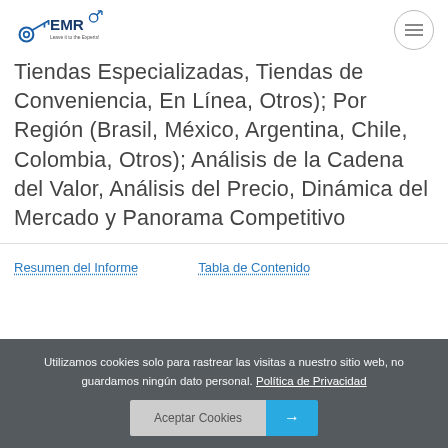EMR - Leave it to the Experts
Tiendas Especializadas, Tiendas de Conveniencia, En Línea, Otros); Por Región (Brasil, México, Argentina, Chile, Colombia, Otros); Análisis de la Cadena del Valor, Análisis del Precio, Dinámica del Mercado y Panorama Competitivo
Resumen del Informe   Tabla de Contenido
Utilizamos cookies solo para rastrear las visitas a nuestro sitio web, no guardamos ningún dato personal. Política de Privacidad
Aceptar Cookies →